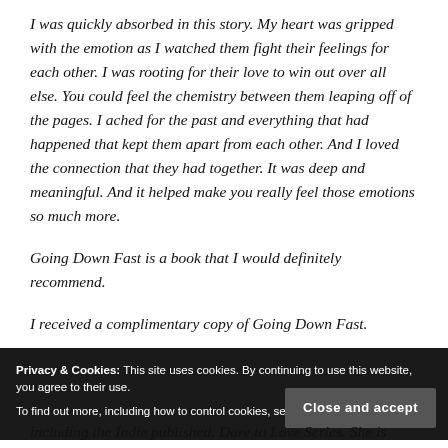I was quickly absorbed in this story. My heart was gripped with the emotion as I watched them fight their feelings for each other. I was rooting for their love to win out over all else. You could feel the chemistry between them leaping off of the pages. I ached for the past and everything that had happened that kept them apart from each other. And I loved the connection that they had together. It was deep and meaningful. And it helped make you really feel those emotions so much more.
Going Down Fast is a book that I would definitely recommend.
I received a complimentary copy of Going Down Fast.
Privacy & Cookies: This site uses cookies. By continuing to use this website, you agree to their use. To find out more, including how to control cookies, see here: Cookie Policy
including the Indie published, Dare to Love Series. She is